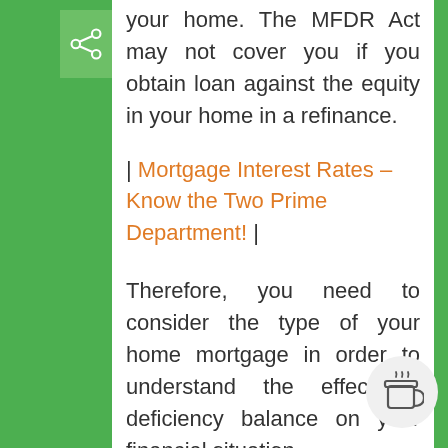your home. The MFDR Act may not cover you if you obtain loan against the equity in your home in a refinance.
| Mortgage Interest Rates – Know the Two Prime Department! |
Therefore, you need to consider the type of your home mortgage in order to understand the effect of deficiency balance on your financial situation.
This article has been contributed by Sam Stokdale, a financial writer specializing in mortgage. Immersing himself with the